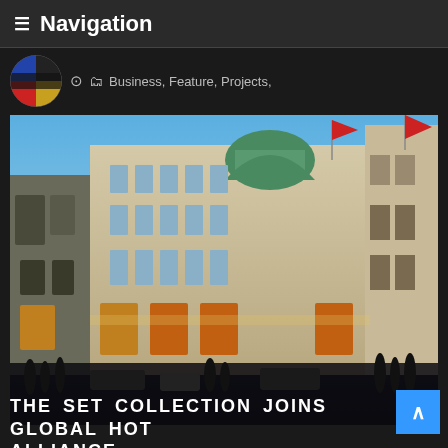≡ Navigation
Business, Feature, Projects,
[Figure (photo): Grand European hotel/building at dusk with illuminated facade, ornate architecture, green dome, red flags, crowds below. Likely Regent Street or similar London landmark.]
THE SET COLLECTION JOINS GLOBAL HOT ALLIANCE